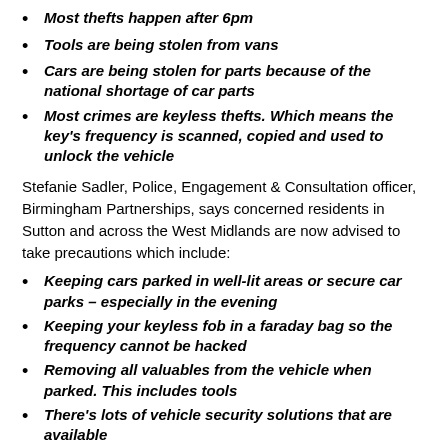Most thefts happen after 6pm
Tools are being stolen from vans
Cars are being stolen for parts because of the national shortage of car parts
Most crimes are keyless thefts. Which means the key's frequency is scanned, copied and used to unlock the vehicle
Stefanie Sadler, Police, Engagement & Consultation officer, Birmingham Partnerships, says concerned residents in Sutton and across the West Midlands are now advised to take precautions which include:
Keeping cars parked in well-lit areas or secure car parks – especially in the evening
Keeping your keyless fob in a faraday bag so the frequency cannot be hacked
Removing all valuables from the vehicle when parked. This includes tools
There's lots of vehicle security solutions that are available